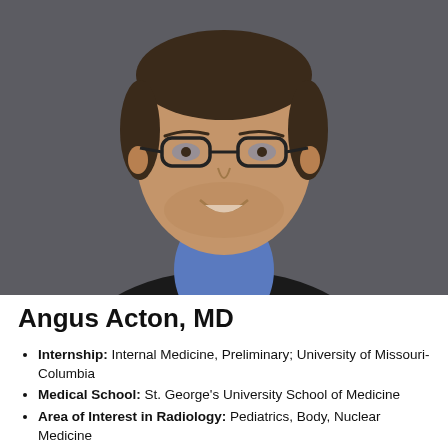[Figure (photo): Professional headshot of Angus Acton, MD — a young man with glasses, short dark hair and beard stubble, wearing a black blazer over a blue shirt, smiling against a dark grey background.]
Angus Acton, MD
Internship: Internal Medicine, Preliminary; University of Missouri-Columbia
Medical School: St. George's University School of Medicine
Area of Interest in Radiology: Pediatrics, Body, Nuclear Medicine
Outside Interests: Hiking, cycling, visiting National